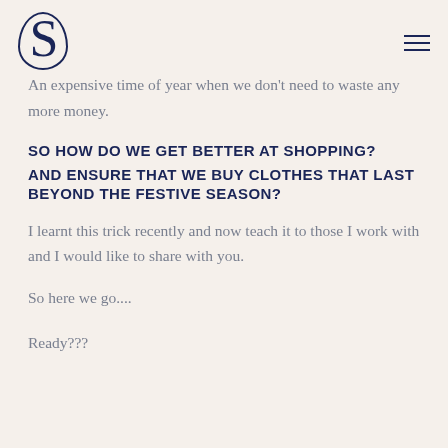S [logo] [hamburger menu]
An expensive time of year when we don't need to waste any more money.
SO HOW DO WE GET BETTER AT SHOPPING?
AND ENSURE THAT WE BUY CLOTHES THAT LAST BEYOND THE FESTIVE SEASON?
I learnt this trick recently and now teach it to those I work with and I would like to share with you.
So here we go....
Ready???